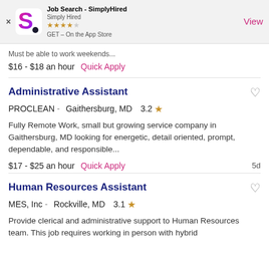Job Search - SimplyHired | Simply Hired | GET – On the App Store
$16 - $18 an hour  Quick Apply
Administrative Assistant
PROCLEAN -  Gaithersburg, MD  3.2 ★
Fully Remote Work, small but growing service company in Gaithersburg, MD looking for energetic, detail oriented, prompt, dependable, and responsible...
$17 - $25 an hour  Quick Apply  5d
Human Resources Assistant
MES, Inc -  Rockville, MD  3.1 ★
Provide clerical and administrative support to Human Resources team. This job requires working in person with hybrid